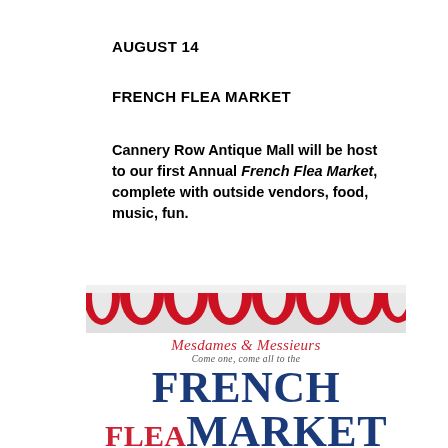AUGUST 14
FRENCH FLEA MARKET
Cannery Row Antique Mall will be host to our first Annual French Flea Market, complete with outside vendors, food, music, fun.
[Figure (illustration): French Flea Market event poster with red and white striped awning at top. Text reads: Mesdames & Messieurs, Come one, come all to the, FRENCH FLEA MARKET, An outdoor summer event, Sunday August 14, 9am to 4pm. Blue and red color scheme with decorative chandelier and basket of items at bottom.]